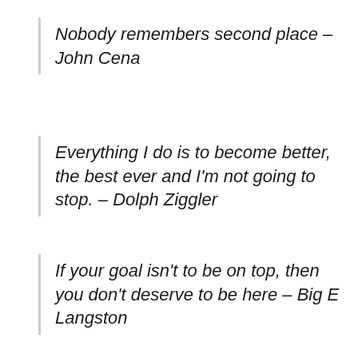Nobody remembers second place – John Cena
Everything I do is to become better, the best ever and I'm not going to stop. – Dolph Ziggler
If your goal isn't to be on top, then you don't deserve to be here – Big E Langston